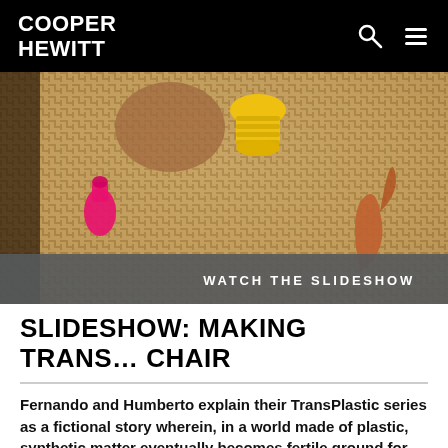COOPER HEWITT
[Figure (photo): Close-up photo of woven rattan/basket material with colorful plastic objects: pink nozzle on the left, yellow ribbed cap at top center, and orange/brown sculptural form on the right. A slideshow bar overlay reads 'WATCH THE SLIDESHOW'.]
SLIDESHOW: MAKING TRANS... CHAIR
Fernando and Humberto explain their TransPlastic series as a fictional story wherein, in a world made of plastic, synthetic matter eventually becomes fertile ground for transgenic creations in which nature...